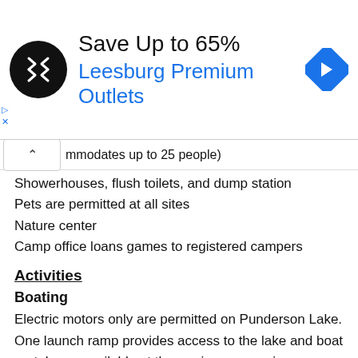[Figure (other): Advertisement banner: Save Up to 65% Leesburg Premium Outlets with logo and navigation arrow icon]
mmodates up to 25 people)
Showerhouses, flush toilets, and dump station
Pets are permitted at all sites
Nature center
Camp office loans games to registered campers
Activities
Boating
Electric motors only are permitted on Punderson Lake. One launch ramp provides access to the lake and boat rentals are available at the marina concession.
Disc Golf